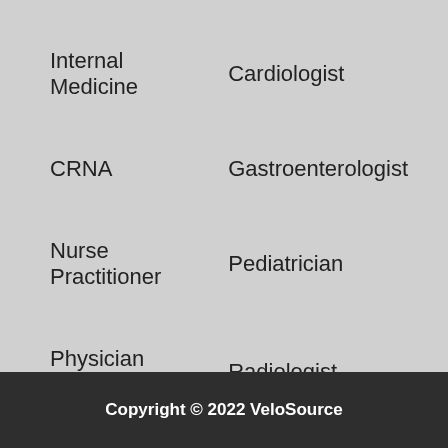Internal Medicine
Cardiologist
CRNA
Gastroenterologist
Nurse Practitioner
Pediatrician
Physician Assistant
Radiologist
Surgeon
Closed Jobs
Copyright © 2022 VeloSource